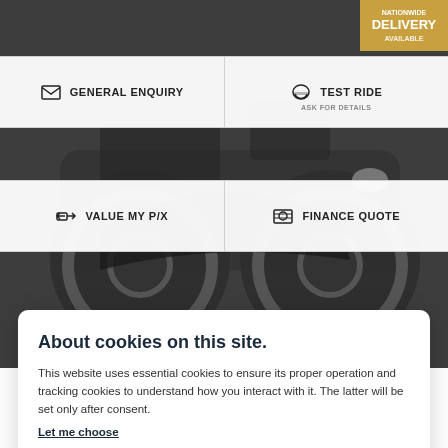[Figure (screenshot): Motorcycle website screenshot background showing a dark motorcycle and navigation buttons]
NATIONWIDE DELIVERY AVAILABLE
GENERAL ENQUIRY
TEST RIDE ASK FOR DETAILS
VALUE MY P/X
FINANCE QUOTE
About cookies on this site.
This website uses essential cookies to ensure its proper operation and tracking cookies to understand how you interact with it. The latter will be set only after consent. Let me choose
Accept all
Reject all